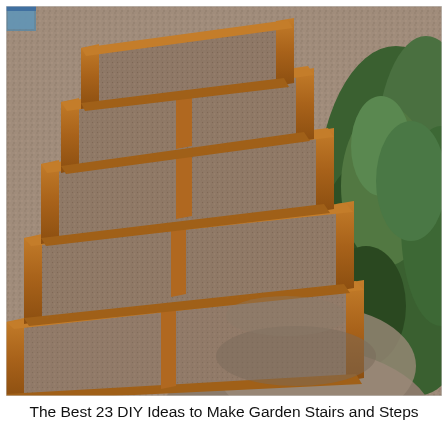[Figure (photo): Outdoor DIY garden stairs made from wooden timber frames filled with gravel/pea stone, arranged in ascending stair-step formation on a dirt slope. Green shrubs/plants visible on the right side.]
The Best 23 DIY Ideas to Make Garden Stairs and Steps